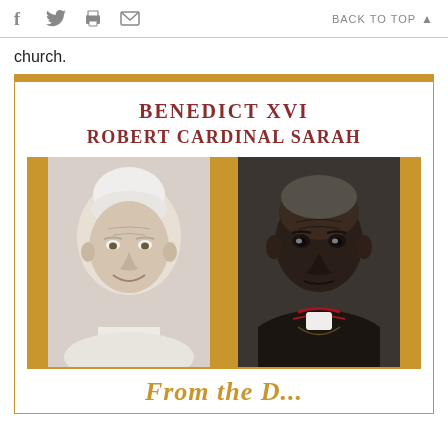f  (twitter)  (print)  (email)    BACK TO TOP ▲
church.
[Figure (illustration): Book cover card with gold top border, authors 'BENEDICT XVI' and 'ROBERT CARDINAL SARAH' in dark red serif text, two portrait photos side by side on a gold background (left: elderly white man with white hair smiling, right: elderly Black man in cardinal vestments), and partial gold decorative text at bottom.]